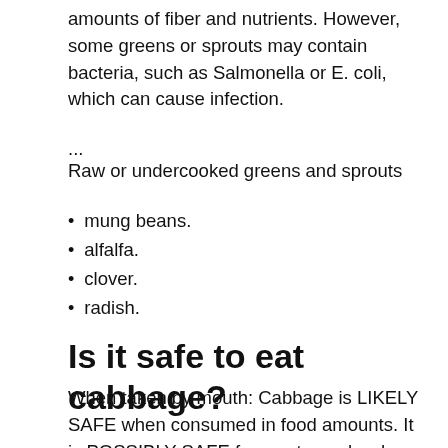amounts of fiber and nutrients. However, some greens or sprouts may contain bacteria, such as Salmonella or E. coli, which can cause infection.
...
Raw or undercooked greens and sprouts
mung beans.
alfalfa.
clover.
radish.
Is it safe to eat cabbage?
When taken by mouth: Cabbage is LIKELY SAFE when consumed in food amounts. It is POSSIBLY SAFE for most people when taken by mouth in medicinal amounts, short-term